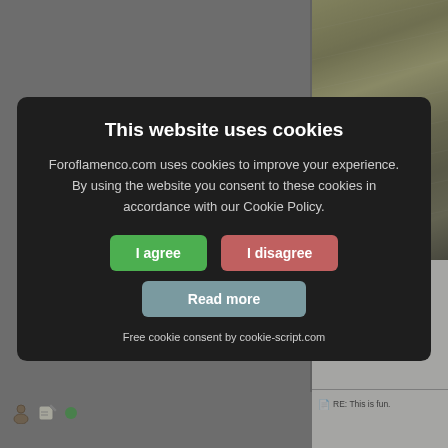[Figure (screenshot): Background of a website forum (Foroflamenco.com) showing a grid layout with grey columns, a photo of a guitar/building, and partial forum post text.]
[Figure (screenshot): Cookie consent modal dialog with dark background. Title: 'This website uses cookies'. Body text: 'Foroflamenco.com uses cookies to improve your experience. By using the website you consent to these cookies in accordance with our Cookie Policy.' Three buttons: 'I agree' (green), 'I disagree' (red/pink), 'Read more' (grey-blue). Footer: 'Free cookie consent by cookie-script.com']